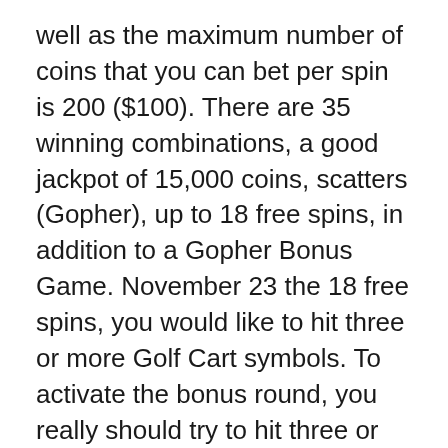well as the maximum number of coins that you can bet per spin is 200 ($100). There are 35 winning combinations, a good jackpot of 15,000 coins, scatters (Gopher), up to 18 free spins, in addition to a Gopher Bonus Game. November 23 the 18 free spins, you would like to hit three or more Golf Cart symbols. To activate the bonus round, you really should try to hit three or more Gopher symbols on the reels. Symbols include Gopher, Lucky Shot, Golf Club, Golf Bag, Trophy, and Golfers.
The next most important tip to aid avoid emptying your bank account is to set a limit on simply how much you desire to spend. Pai gow poker were designed, after, guide people distracted. They are highly enjoyable